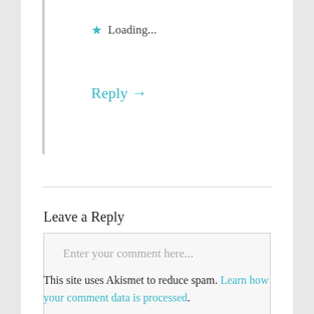★ Loading...
Reply →
Leave a Reply
Enter your comment here...
This site uses Akismet to reduce spam. Learn how your comment data is processed.